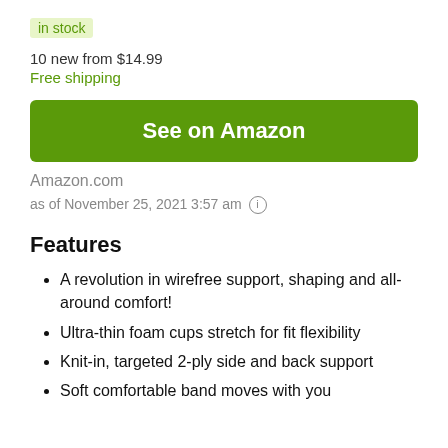in stock
10 new from $14.99
Free shipping
See on Amazon
Amazon.com
as of November 25, 2021 3:57 am ℹ
Features
A revolution in wirefree support, shaping and all-around comfort!
Ultra-thin foam cups stretch for fit flexibility
Knit-in, targeted 2-ply side and back support
Soft comfortable band moves with you